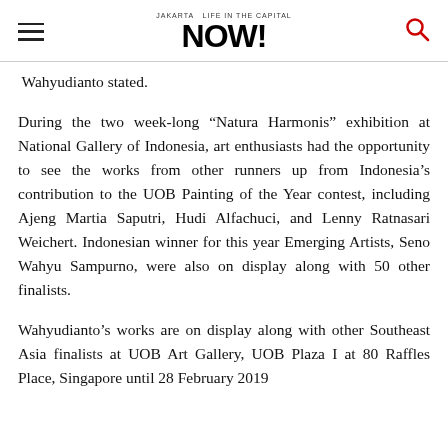Jakarta NOW! - Life in the Capital
Wahyudianto stated.
During the two week-long “Natura Harmonis” exhibition at National Gallery of Indonesia, art enthusiasts had the opportunity to see the works from other runners up from Indonesia’s contribution to the UOB Painting of the Year contest, including Ajeng Martia Saputri, Hudi Alfachuci, and Lenny Ratnasari Weichert. Indonesian winner for this year Emerging Artists, Seno Wahyu Sampurno, were also on display along with 50 other finalists.
Wahyudianto’s works are on display along with other Southeast Asia finalists at UOB Art Gallery, UOB Plaza I at 80 Raffles Place, Singapore until 28 February 2019